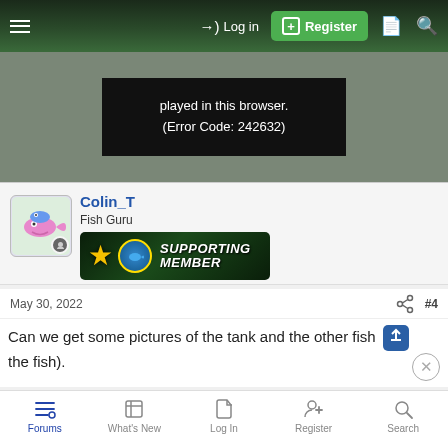[Figure (screenshot): Navigation bar with hamburger menu, Log in link, green Register button, document icon, and search icon on dark green background]
[Figure (screenshot): Video player error area showing black box with white text: 'played in this browser. (Error Code: 242632)']
played in this browser. (Error Code: 242632)
Colin_T
Fish Guru
[Figure (illustration): Supporting Member badge with gold star and fish imagery on dark green background]
May 30, 2022
#4
Can we get some pictures of the tank and the other fish the fish).
[Figure (screenshot): Bottom navigation bar with Forums, What's New, Log In, Register, Search icons]